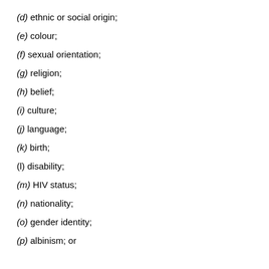(d) ethnic or social origin;
(e) colour;
(f) sexual orientation;
(g) religion;
(h) belief;
(i) culture;
(j) language;
(k) birth;
(l) disability;
(m) HIV status;
(n) nationality;
(o) gender identity;
(p) albinism; or